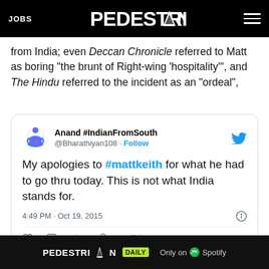JOBS | PEDESTRIAN | [menu]
from India; even Deccan Chronicle referred to Matt as boring “the brunt of Right-wing ‘hospitality’”, and The Hindu referred to the incident as an “ordeal”,
[Figure (screenshot): Embedded tweet from Anand #IndianFromSouth (@Bharathiyan108): 'My apologies to #mattkeith for what he had to go thru today. This is not what India stands for.' Posted 4:49 PM · Oct 19, 2015]
[Figure (infographic): PEDESTRIAN DAILY ad banner - Only on Spotify]